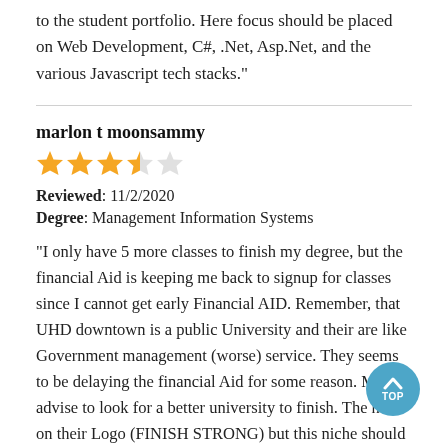to the student portfolio. Here focus should be placed on Web Development, C#, .Net, Asp.Net, and the various Javascript tech stacks."
marlon t moonsammy
[Figure (other): 3.5 out of 5 stars rating: 3 full gold stars, 1 half gold star, 1 empty star]
Reviewed: 11/2/2020
Degree: Management Information Systems
"I only have 5 more classes to finish my degree, but the financial Aid is keeping me back to signup for classes since I cannot get early Financial AID. Remember, that UHD downtown is a public University and their are like Government management (worse) service. They seems to be delaying the financial Aid for some reason. My advise to look for a better university to finish. The have on their Logo (FINISH STRONG) but this niche should be (FINISH if